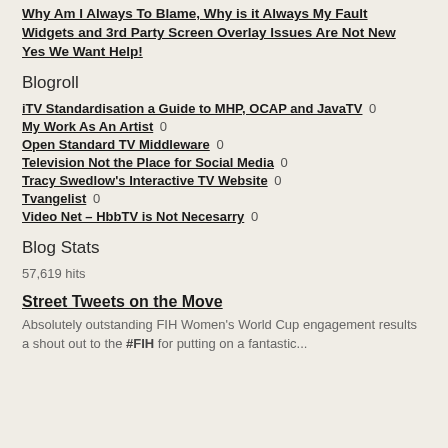Why Am I Always To Blame, Why is it Always My Fault
Widgets and 3rd Party Screen Overlay Issues Are Not New
Yes We Want Help!
Blogroll
iTV Standardisation a Guide to MHP, OCAP and JavaTV 0
My Work As An Artist 0
Open Standard TV Middleware 0
Television Not the Place for Social Media 0
Tracy Swedlow's Interactive TV Website 0
Tvangelist 0
Video Net – HbbTV is Not Necesarry 0
Blog Stats
57,619 hits
Street Tweets on the Move
Absolutely outstanding FIH Women's World Cup engagement results a shout out to the #FIH for putting on a fantastic...